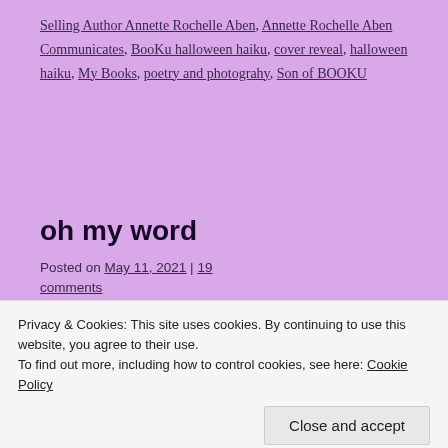Selling Author Annette Rochelle Aben, Annette Rochelle Aben Communicates, BooKu halloween haiku, cover reveal, halloween haiku, My Books, poetry and photograhy, Son of BOOKU
oh my word
Posted on May 11, 2021 | 19 comments
[Figure (photo): Broken/placeholder image in post content area]
Privacy & Cookies: This site uses cookies. By continuing to use this website, you agree to their use. To find out more, including how to control cookies, see here: Cookie Policy
Close and accept